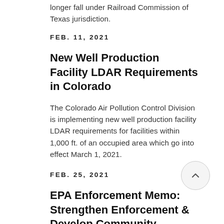longer fall under Railroad Commission of Texas jurisdiction.
FEB. 11, 2021
New Well Production Facility LDAR Requirements in Colorado
The Colorado Air Pollution Control Division is implementing new well production facility LDAR requirements for facilities within 1,000 ft. of an occupied area which go into effect March 1, 2021.
FEB. 25, 2021
EPA Enforcement Memo: Strengthen Enforcement & Develop Community Engagement
On April 30th, 2021, the Acting Assistant